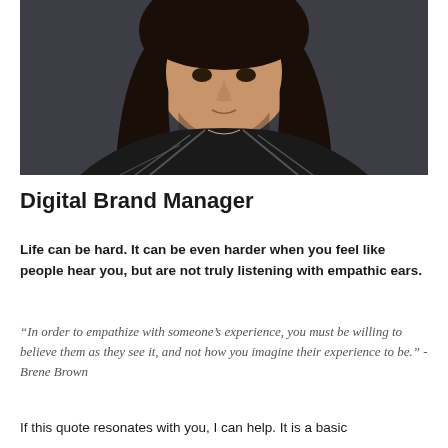[Figure (photo): Professional headshot of a woman with long dark hair wearing a dark patterned top, photographed against a dark grey background.]
Digital Brand Manager
Life can be hard. It can be even harder when you feel like people hear you, but are not truly listening with empathic ears.
“In order to empathize with someone’s experience, you must be willing to believe them as they see it, and not how you imagine their experience to be.” -Brene Brown
If this quote resonates with you, I can help. It is a basic